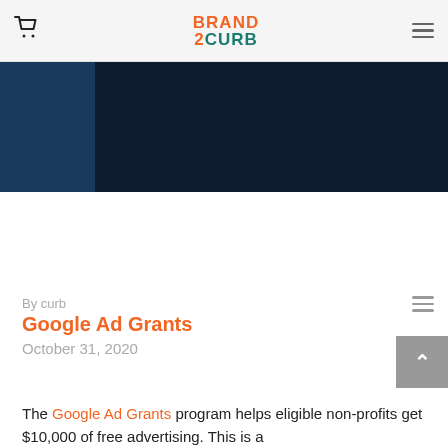Brand Curb — navigation header with cart icon and hamburger menu
[Figure (photo): Dark navy blue banner image with a lighter blue rectangle on the left side and a dark navy background on the right]
By curb
Google Ad Grants
October 31, 2020
The Google Ad Grants program helps eligible non-profits get $10,000 of free advertising. This is a